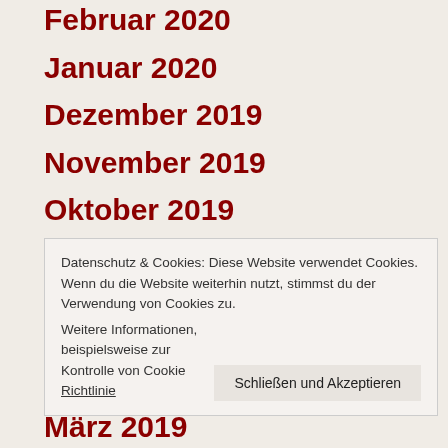Februar 2020
Januar 2020
Dezember 2019
November 2019
Oktober 2019
September 2019
August 2019
Datenschutz & Cookies: Diese Website verwendet Cookies. Wenn du die Website weiterhin nutzt, stimmst du der Verwendung von Cookies zu. Weitere Informationen, beispielsweise zur Kontrolle von Cookies, findest du hier: Cookie-Richtlinie
März 2019